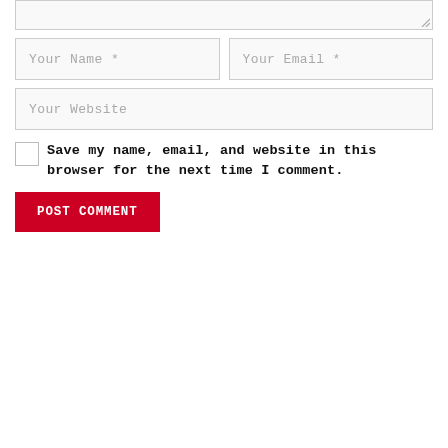[Figure (screenshot): Web comment form with textarea (partially visible at top), two side-by-side input fields for Name and Email, a full-width Website input, a checkbox with label, and a red POST COMMENT button]
Your Name *
Your Email *
Your Website
Save my name, email, and website in this browser for the next time I comment.
POST COMMENT